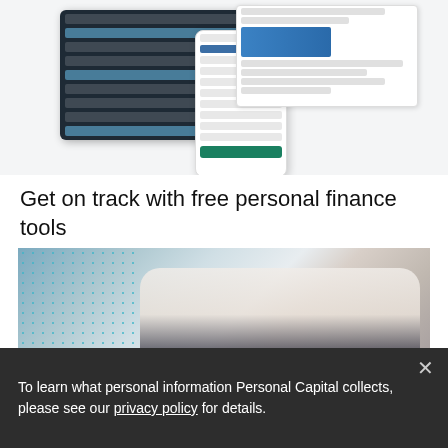[Figure (screenshot): App screenshots showing personal finance dashboard on tablet, phone, and desktop]
Get on track with free personal finance tools
[Figure (photo): Man in white shirt sitting at glass table with hands gesturing, teal dot pattern overlay on left side]
To learn what personal information Personal Capital collects, please see our privacy policy for details.